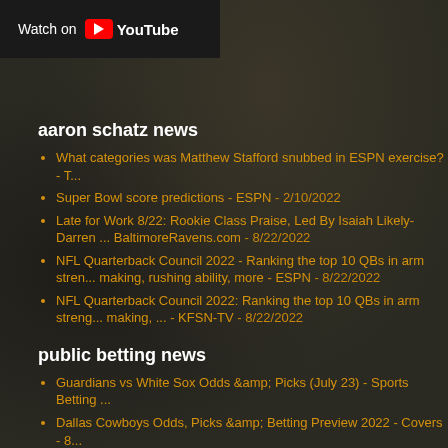[Figure (screenshot): Watch on YouTube button/banner overlay on dark background image of a room with TV and furniture]
aaron schatz news
What categories was Matthew Stafford snubbed in ESPN exercise? - ...
Super Bowl score predictions - ESPN - 2/10/2022
Late for Work 8/22: Rookie Class Praise, Led By Isaiah Likely-Darren ... BaltimoreRavens.com - 8/22/2022
NFL Quarterback Council 2022 - Ranking the top 10 QBs in arm stren... making, rushing ability, more - ESPN - 8/22/2022
NFL Quarterback Council 2022: Ranking the top 10 QBs in arm streng... making, ... - KFSN-TV - 8/22/2022
public betting news
Guardians vs White Sox Odds &amp; Picks (July 23) - Sports Betting ...
Dallas Cowboys Odds, Picks &amp; Betting Preview 2022 - Covers - 8...
Reds vs. Phillies, 8/22/22 Betting Odds, Prediction &amp; Trends - Th...
Brewers vs. Dodgers, 8/22/22 Betting Odds, Prediction &amp; Trends ...
Mets vs. Yankees, 8/22/22 Betting Odds, Prediction &amp; Trends - Th...